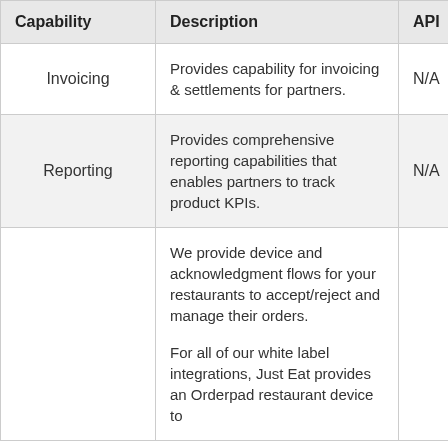| Capability | Description | API |
| --- | --- | --- |
| Invoicing | Provides capability for invoicing & settlements for partners. | N/A |
| Reporting | Provides comprehensive reporting capabilities that enables partners to track product KPIs. | N/A |
|  | We provide device and acknowledgment flows for your restaurants to accept/reject and manage their orders.

For all of our white label integrations, Just Eat provides an Orderpad restaurant device to... |  |